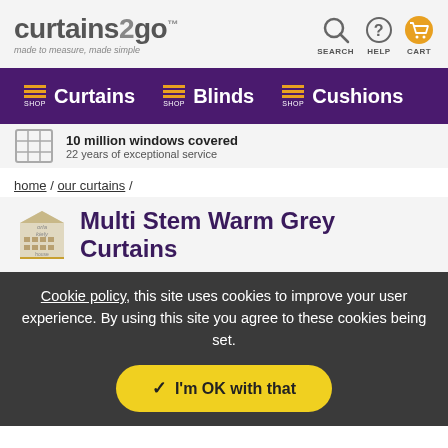[Figure (logo): curtains2go logo with tagline 'made to measure, made simple' and navigation icons for SEARCH, HELP, CART]
[Figure (infographic): Purple navigation bar with SHOP Curtains, SHOP Blinds, SHOP Cushions menu items]
10 million windows covered
22 years of exceptional service
home / our curtains /
Multi Stem Warm Grey Curtains
Cookie policy, this site uses cookies to improve your user experience. By using this site you agree to these cookies being set.
I'm OK with that